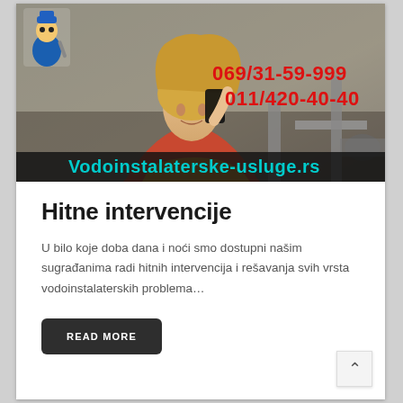[Figure (photo): Banner image showing a woman on phone with plumbing under sink, plumber mascot logo top-left, phone numbers 069/31-59-999 and 011/420-40-40 in red, website Vodoinstalaterske-usluge.rs at bottom in cyan/teal text on dark background]
Hitne intervencije
U bilo koje doba dana i noći smo dostupni našim sugrađanima radi hitnih intervencija i rešavanja svih vrsta vodoinstalaterskih problema…
READ MORE